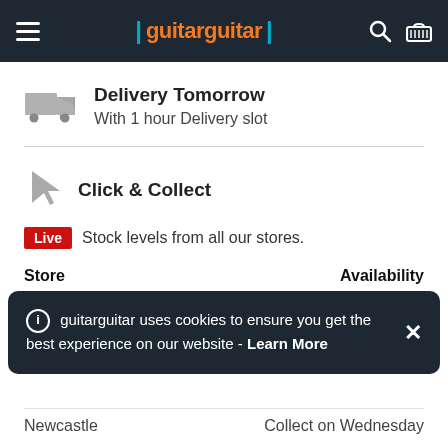guitarguitar
Delivery Tomorrow
With 1 hour Delivery slot
Click & Collect
Live  Stock levels from all our stores.
| Store | Availability |
| --- | --- |
| Newcastle | Collect on Wednesday |
guitarguitar uses cookies to ensure you get the best experience on our website - Learn More